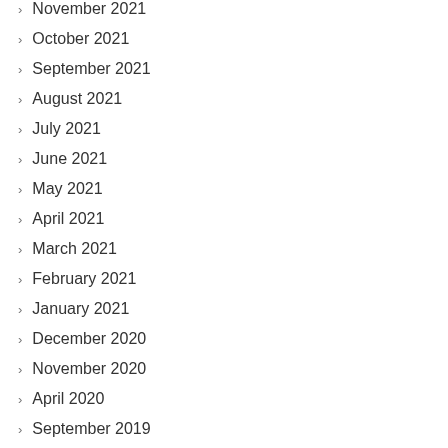November 2021
October 2021
September 2021
August 2021
July 2021
June 2021
May 2021
April 2021
March 2021
February 2021
January 2021
December 2020
November 2020
April 2020
September 2019